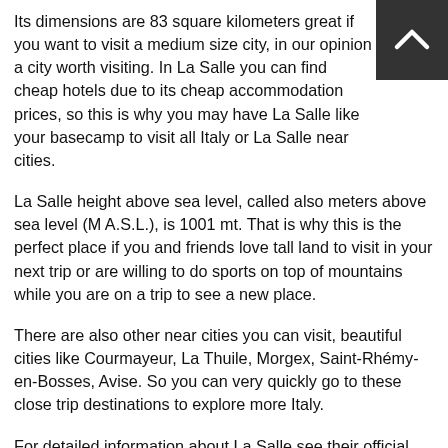Its dimensions are 83 square kilometers great if you want to visit a medium size city, in our opinion a city worth visiting. In La Salle you can find cheap hotels due to its cheap accommodation prices, so this is why you may have La Salle like your basecamp to visit all Italy or La Salle near cities.
La Salle height above sea level, called also meters above sea level (M A.S.L.), is 1001 mt. That is why this is the perfect place if you and friends love tall land to visit in your next trip or are willing to do sports on top of mountains while you are on a trip to see a new place.
There are also other near cities you can visit, beautiful cities like Courmayeur, La Thuile, Morgex, Saint-Rhémy-en-Bosses, Avise. So you can very quickly go to these close trip destinations to explore more Italy.
For detailed information about La Salle see their official website http://www.comune.lasalle.ao.it.
La Salle things to do and